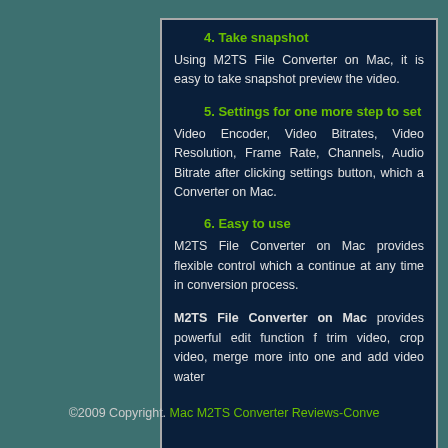4. Take snapshot
Using M2TS File Converter on Mac, it is easy to take snapshot preview the video.
5. Settings for one more step to set
Video Encoder, Video Bitrates, Video Resolution, Frame Rate, Channels, Audio Bitrate after clicking settings button, which a Converter on Mac.
6. Easy to use
M2TS File Converter on Mac provides flexible control which a continue at any time in conversion process.
M2TS File Converter on Mac provides powerful edit function f trim video, crop video, merge more into one and add video water
©2009 Copyright. Mac M2TS Converter Reviews-Conve